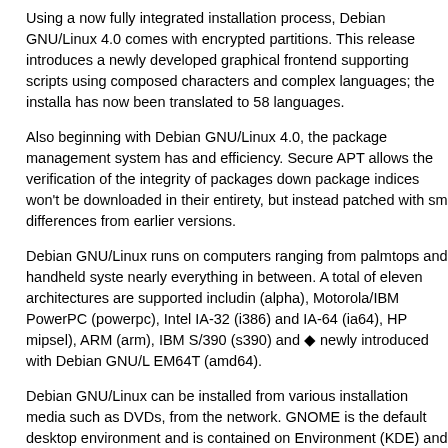Using a now fully integrated installation process, Debian GNU/Linux 4.0 comes with encrypted partitions. This release introduces a newly developed graphical frontend supporting scripts using composed characters and complex languages; the installer has now been translated to 58 languages.
Also beginning with Debian GNU/Linux 4.0, the package management system has and efficiency. Secure APT allows the verification of the integrity of packages down package indices won't be downloaded in their entirety, but instead patched with sm differences from earlier versions.
Debian GNU/Linux runs on computers ranging from palmtops and handheld systems nearly everything in between. A total of eleven architectures are supported including (alpha), Motorola/IBM PowerPC (powerpc), Intel IA-32 (i386) and IA-64 (ia64), HP mipsel), ARM (arm), IBM S/390 (s390) and ◆ newly introduced with Debian GNU/L EM64T (amd64).
Debian GNU/Linux can be installed from various installation media such as DVDs, from the network. GNOME is the default desktop environment and is contained on Environment (KDE) and the Xfce desktop can be installed through two new alterna available with Debian GNU/Linux 4.0 are multi-arch CDs and DVDs supporting inst from a single disc.
Debian GNU/Linux can be downloaded right now via bittorrent (the recommended GNU/Linux on CDs for further information. It will soon be available on DVD and CD
This release includes a number of updated software packages, such as the K Desk updated version of the GNOME desktop environment 2.14, the Xfce 4.4 desktop en